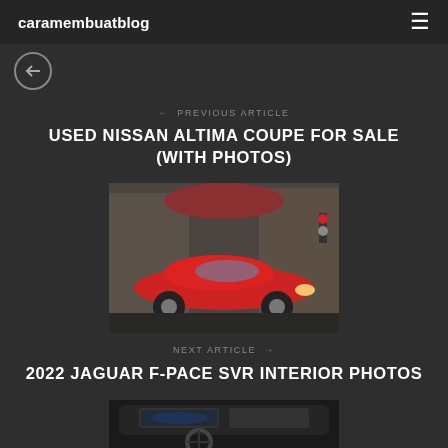caramembuatblog
[Figure (other): Back navigation button - circle with arrow]
← PREVIOUS ARTICLE
USED NISSAN ALTIMA COUPE FOR SALE (WITH PHOTOS)
[Figure (photo): Red Nissan Altima Coupe parked on a street with buildings in background]
NEXT ARTICLE →
2022 JAGUAR F-PACE SVR INTERIOR PHOTOS
[Figure (photo): Jaguar F-Pace SVR interior dashboard photo, partial view]